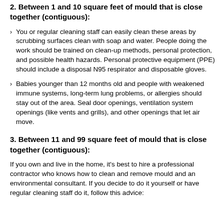2. Between 1 and 10 square feet of mould that is close together (contiguous):
You or regular cleaning staff can easily clean these areas by scrubbing surfaces clean with soap and water. People doing the work should be trained on clean-up methods, personal protection, and possible health hazards. Personal protective equipment (PPE) should include a disposal N95 respirator and disposable gloves.
Babies younger than 12 months old and people with weakened immune systems, long-term lung problems, or allergies should stay out of the area. Seal door openings, ventilation system openings (like vents and grills), and other openings that let air move.
3. Between 11 and 99 square feet of mould that is close together (contiguous):
If you own and live in the home, it's best to hire a professional contractor who knows how to clean and remove mould and an environmental consultant. If you decide to do it yourself or have regular cleaning staff do it, follow this advice: